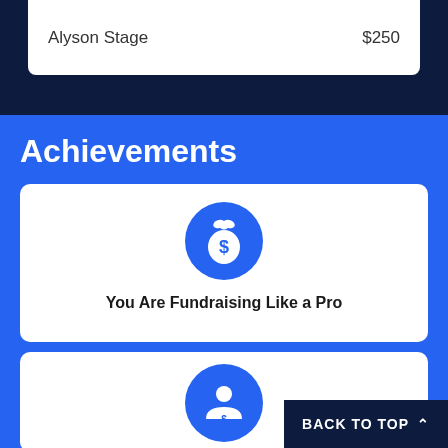Alyson Stage    $250
Achievements
[Figure (illustration): Blue circle icon with a money bag containing a dollar sign symbol]
You Are Fundraising Like a Pro
[Figure (illustration): Blue circle icon with a person/user silhouette and dollar sign at bottom]
BACK TO TOP